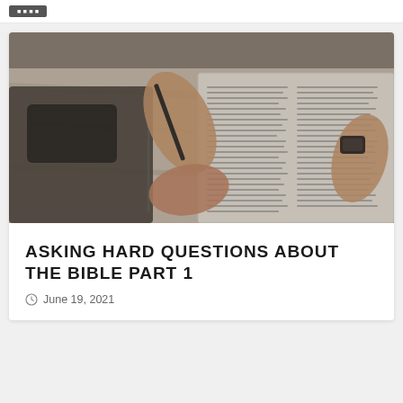[Figure (photo): A person holding a pen over an open Bible on a wooden table, with a notebook and phone nearby. The image has a muted, slightly darkened tone.]
ASKING HARD QUESTIONS ABOUT THE BIBLE PART 1
June 19, 2021